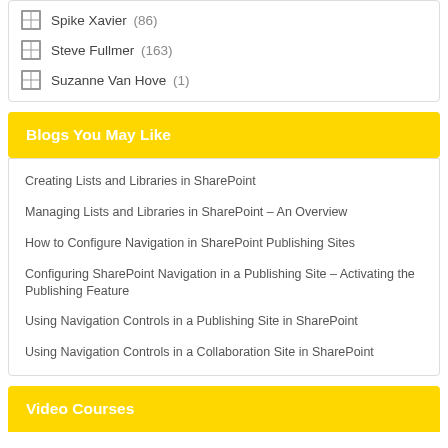Spike Xavier (86)
Steve Fullmer (163)
Suzanne Van Hove (1)
Blogs You May Like
Creating Lists and Libraries in SharePoint
Managing Lists and Libraries in SharePoint – An Overview
How to Configure Navigation in SharePoint Publishing Sites
Configuring SharePoint Navigation in a Publishing Site – Activating the Publishing Feature
Using Navigation Controls in a Publishing Site in SharePoint
Using Navigation Controls in a Collaboration Site in SharePoint
Video Courses